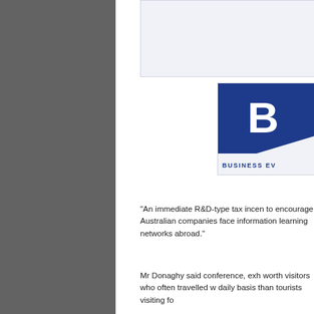[Figure (logo): Business Events logo — dark blue square background with large white letter B, wave graphic at bottom, text 'Business Ev...' below]
“An immediate R&D-type tax incen to encourage Australian companies face information learning networks abroad.”
Mr Donaghy said conference, exh worth visitors who often travelled w daily basis than tourists visiting fo